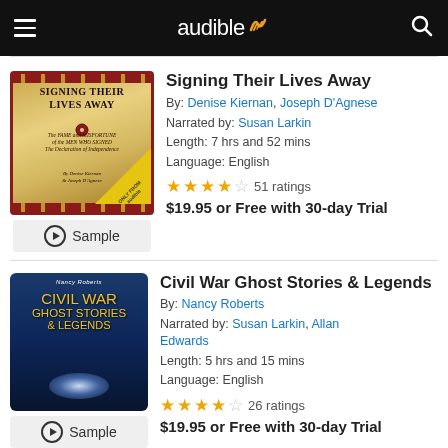audible
[Figure (screenshot): Book cover for 'Signing Their Lives Away' - parchment colored background with red border, yellow corner badge with 'audible']
Signing Their Lives Away
By: Denise Kiernan, Joseph D'Agnese
Narrated by: Susan Larkin
Length: 7 hrs and 52 mins
Language: English
51 ratings
$19.95 or Free with 30-day Trial
[Figure (screenshot): Book cover for 'Civil War Ghost Stories & Legends' - dark blue background with yellow title text and glowing light effect]
Civil War Ghost Stories & Legends
By: Nancy Roberts
Narrated by: Susan Larkin, Allan Edwards
Length: 5 hrs and 15 mins
Language: English
26 ratings
$19.95 or Free with 30-day Trial